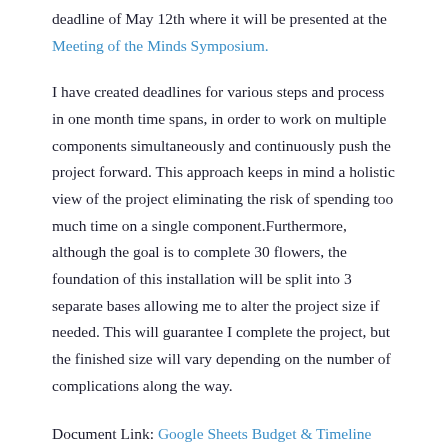deadline of May 12th where it will be presented at the Meeting of the Minds Symposium.
I have created deadlines for various steps and process in one month time spans, in order to work on multiple components simultaneously and continuously push the project forward. This approach keeps in mind a holistic view of the project eliminating the risk of spending too much time on a single component.Furthermore, although the goal is to complete 30 flowers, the foundation of this installation will be split into 3 separate bases allowing me to alter the project size if needed. This will guarantee I complete the project, but the finished size will vary depending on the number of complications along the way.
Document Link: Google Sheets Budget & Timeline